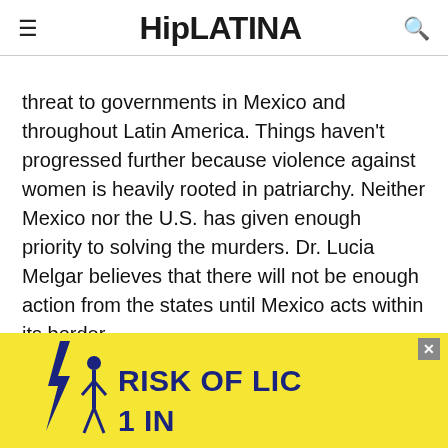HipLATINA
threat to governments in Mexico and throughout Latin America. Things haven’t progressed further because violence against women is heavily rooted in patriarchy. Neither Mexico nor the U.S. has given enough priority to solving the murders. Dr. Lucia Melgar believes that there will not be enough action from the states until Mexico acts within its border.
“Early in 2020, there was an official attempt to erase femicide from the penal code with the
[Figure (screenshot): Yellow advertisement banner with lightning bolt icon, a silhouette of a person, and the text 'RISK OF LIG' and '1 IN' in dark blue bold text. An X close button is visible in the top right corner.]